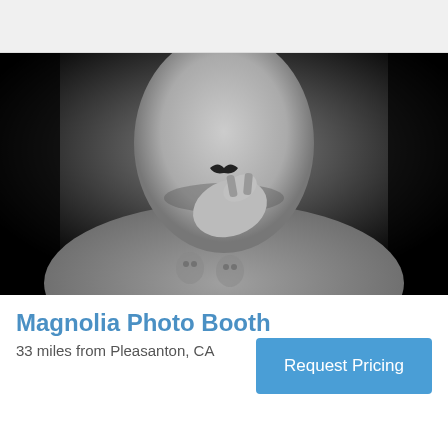[Figure (photo): Black and white portrait photo of a man holding a mustache prop up to his face with his hand, wearing a grey t-shirt with owl prints. Dark background.]
Magnolia Photo Booth
33 miles from Pleasanton, CA
Request Pricing